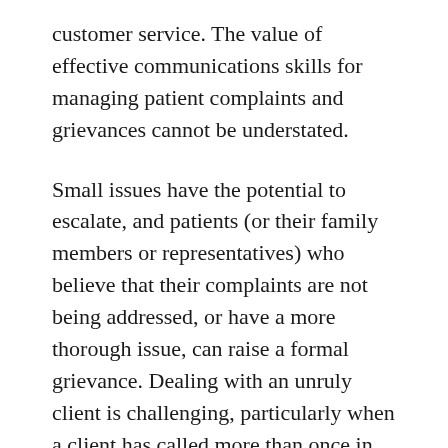customer service. The value of effective communications skills for managing patient complaints and grievances cannot be understated.
Small issues have the potential to escalate, and patients (or their family members or representatives) who believe that their complaints are not being addressed, or have a more thorough issue, can raise a formal grievance. Dealing with an unruly client is challenging, particularly when a client has called more than once in order to get an issue resolved.
Other telephone companies might require that